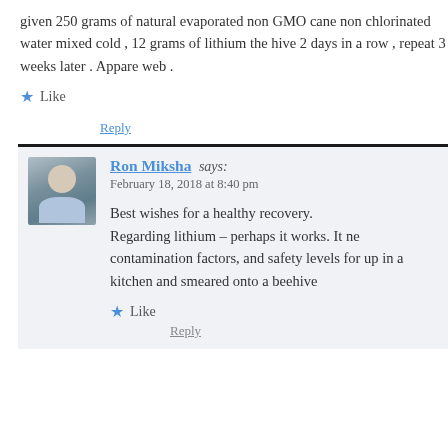given 250 grams of natural evaporated non GMO cane non chlorinated water mixed cold , 12 grams of lithium the hive 2 days in a row , repeat 3 weeks later . Appare web .
★ Like
Reply
Ron Miksha says:
February 18, 2018 at 8:40 pm
Best wishes for a healthy recovery. Regarding lithium – perhaps it works. It ne contamination factors, and safety levels for up in a kitchen and smeared onto a beehive
★ Like
Reply